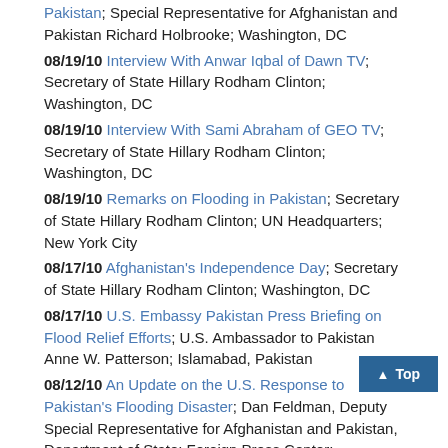Pakistan;  Special Representative for Afghanistan and Pakistan Richard Holbrooke; Washington, DC
08/19/10 Interview With Anwar Iqbal of Dawn TV;  Secretary of State Hillary Rodham Clinton; Washington, DC
08/19/10 Interview With Sami Abraham of GEO TV;  Secretary of State Hillary Rodham Clinton; Washington, DC
08/19/10 Remarks on Flooding in Pakistan;  Secretary of State Hillary Rodham Clinton; UN Headquarters; New York City
08/17/10 Afghanistan's Independence Day;  Secretary of State Hillary Rodham Clinton; Washington, DC
08/17/10 U.S. Embassy Pakistan Press Briefing on Flood Relief Efforts; U.S. Ambassador to Pakistan Anne W. Patterson; Islamabad, Pakistan
08/12/10 An Update on the U.S. Response to Pakistan's Flooding Disaster; Dan Feldman, Deputy Special Representative for Afghanistan and Pakistan, Department of State; Foreign Press Center; Washington, DC
08/12/10 Current State in Afghanistan and Pakistan;  Special Representative for Afghanistan and Pakistan Richard Holbrooke; Interview by Charlie Rose, The Charlie Rose...